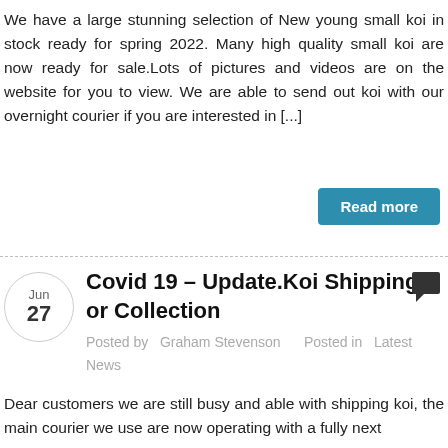We have a large stunning selection of New young small koi in stock ready for spring 2022. Many high quality small koi are now ready for sale.Lots of pictures and videos are on the website for you to view. We are able to send out koi with our overnight courier if you are interested in [...]
Read more
Covid 19 – Update.Koi Shipping or Collection
Posted by  Graham Stevenson     Posted in  Latest News
Dear customers we are still busy and able with shipping koi, the main courier we use are now operating with a fully next